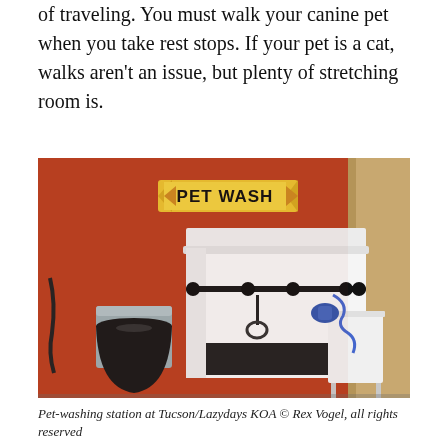of traveling. You must walk your canine pet when you take rest stops. If your pet is a cat, walks aren't an issue, but plenty of stretching room is.
[Figure (photo): A pet-washing station against a reddish-orange wall. A white tub/grooming station with a horizontal bar and hanging noose, a trash can with black liner to the left, and a small white table. A 'PET WASH' sign with yellow and orange design is mounted on the wall above.]
Pet-washing station at Tucson/Lazydays KOA © Rex Vogel, all rights reserved